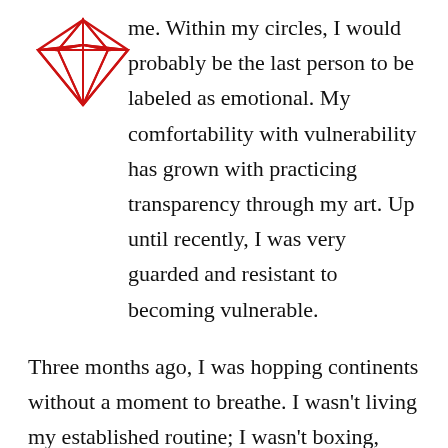[Figure (logo): Red geometric diamond/gem outline logo composed of triangular facets]
me. Within my circles, I would probably be the last person to be labeled as emotional. My comfortability with vulnerability has grown with practicing transparency through my art. Up until recently, I was very guarded and resistant to becoming vulnerable.

Three months ago, I was hopping continents without a moment to breathe. I wasn't living my established routine; I wasn't boxing, sticking to my diet, seeing my therapist, or sleeping. I had lost my balance. During this time, I met somebody, and for the first time, I showed this person my most vulnerable side. My walls were